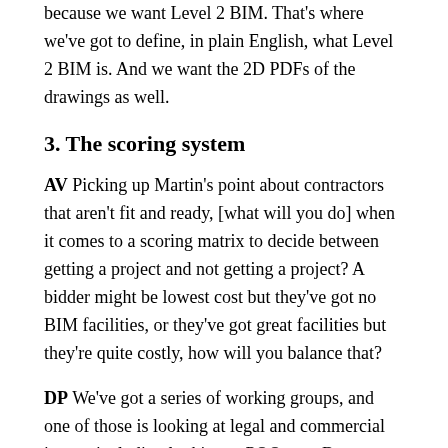because we want Level 2 BIM. That's where we've got to define, in plain English, what Level 2 BIM is. And we want the 2D PDFs of the drawings as well.
3. The scoring system
AV Picking up Martin's point about contractors that aren't fit and ready, [what will you do] when it comes to a scoring matrix to decide between getting a project and not getting a project? A bidder might be lowest cost but they've got no BIM facilities, or they've got great facilities but they're quite costly, how will you balance that?
DP We've got a series of working groups, and one of those is looking at legal and commercial issues, including looking at PQQ sets. But once you go beyond that stage, when you tender for the project